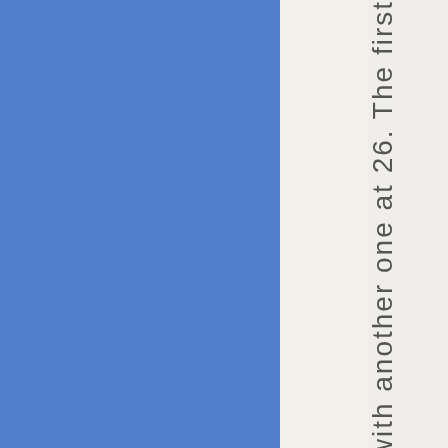[Figure (other): Large blue rectangle panel on the left side of the page]
with another one at 26. The first